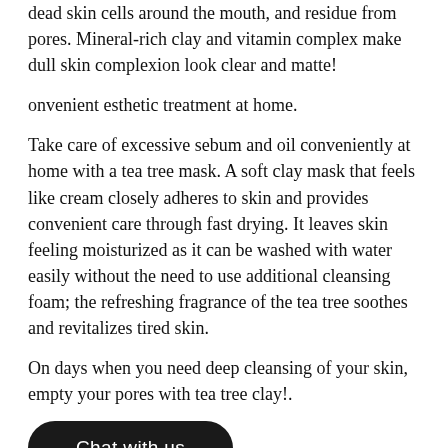dead skin cells around the mouth, and residue from pores. Mineral-rich clay and vitamin complex make dull skin complexion look clear and matte!
onvenient esthetic treatment at home.
Take care of excessive sebum and oil conveniently at home with a tea tree mask. A soft clay mask that feels like cream closely adheres to skin and provides convenient care through fast drying. It leaves skin feeling moisturized as it can be washed with water easily without the need to use additional cleansing foam; the refreshing fragrance of the tea tree soothes and revitalizes tired skin.
On days when you need deep cleansing of your skin, empty your pores with tea tree clay!.
[Figure (other): Dark rounded pill-shaped button with white text reading 'Chat with us']
HOW TO USE